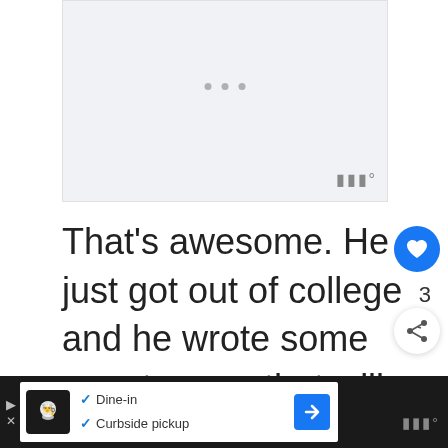[Figure (screenshot): Advertisement placeholder area with light gray background]
That's awesome. He just got out of college and he wrote some smart paper that will get published! He is a humble boy though and said all this with modesty. As for studying abroad, he spent a month in London interviewing doctors about health
[Figure (screenshot): Bottom advertisement bar showing restaurant with Dine-in and Curbside pickup options]